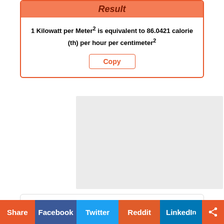Result
1 Kilowatt per Meter² is equivalent to 86.0421 calorie (th) per hour per centimeter²
[Figure (screenshot): Gray advertisement placeholder block]
Home » Heat Flux Density »
Share Facebook Twitter Reddit LinkedIn